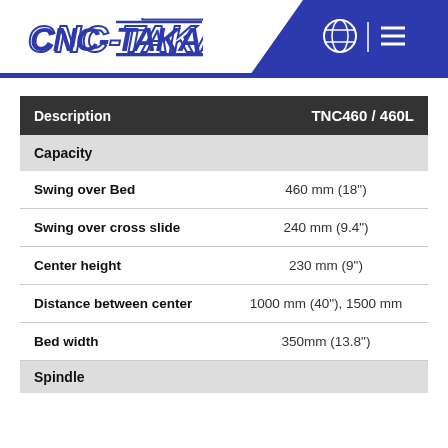CNC-TAKANG
| Description | TNC460 / 460L |
| --- | --- |
| Capacity |  |
| Swing over Bed | 460 mm (18") |
| Swing over cross slide | 240 mm (9.4") |
| Center height | 230 mm (9") |
| Distance between center | 1000 mm (40"), 1500 mm |
| Bed width | 350mm (13.8") |
| Spindle |  |